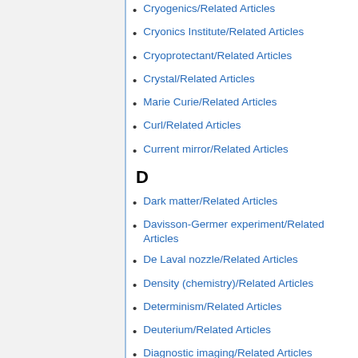Cryogenics/Related Articles
Cryonics Institute/Related Articles
Cryoprotectant/Related Articles
Crystal/Related Articles
Marie Curie/Related Articles
Curl/Related Articles
Current mirror/Related Articles
D
Dark matter/Related Articles
Davisson-Germer experiment/Related Articles
De Laval nozzle/Related Articles
Density (chemistry)/Related Articles
Determinism/Related Articles
Deuterium/Related Articles
Diagnostic imaging/Related Articles
Diamond (gemstone)/Related Articles
Dielectric/Related Articles
Diffraction/Related Articles